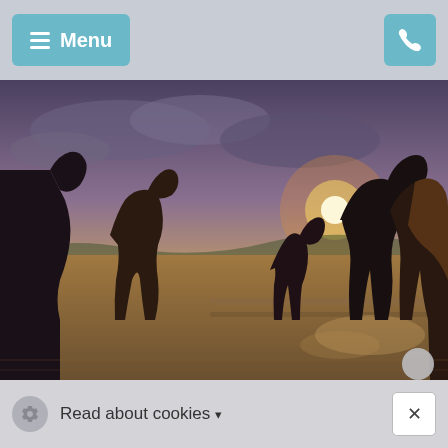Menu | Phone
[Figure (photo): Horses silhouetted against a dramatic sunset sky in a paddock, dust rising around them, golden light flooding a flat agricultural landscape]
Read about cookies ▾